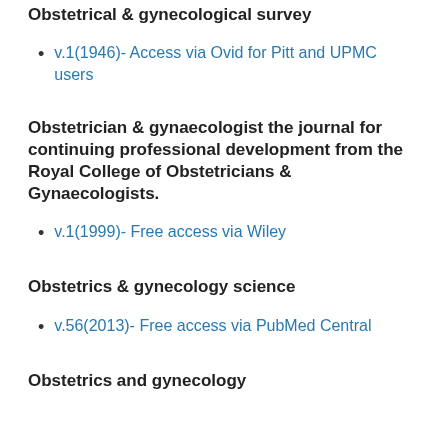Obstetrical & gynecological survey
v.1(1946)- Access via Ovid for Pitt and UPMC users
Obstetrician & gynaecologist the journal for continuing professional development from the Royal College of Obstetricians & Gynaecologists.
v.1(1999)- Free access via Wiley
Obstetrics & gynecology science
v.56(2013)- Free access via PubMed Central
Obstetrics and gynecology